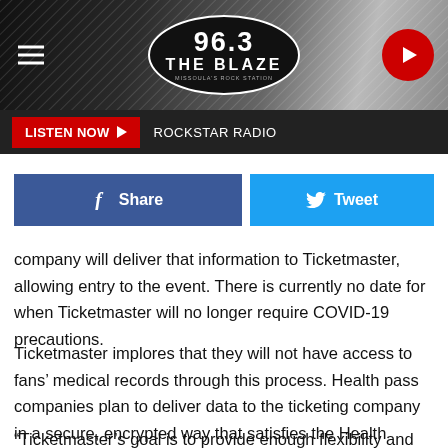[Figure (screenshot): 96.3 The Blaze radio station website header with logo, hamburger menu, and play button]
LISTEN NOW  ROCKSTAR RADIO
[Figure (infographic): Facebook Share and Twitter Tweet social sharing buttons]
company will deliver that information to Ticketmaster, allowing entry to the event. There is currently no date for when Ticketmaster will no longer require COVID-19 precautions.
Ticketmaster implores that they will not have access to fans' medical records through this process. Health pass companies plan to deliver data to the ticketing company in a secure, encrypted way that satisfies the Health Insurance Portability and Accountability Act (HIPAA).
"Ticketmaster's goal is to provide enough flexibility and